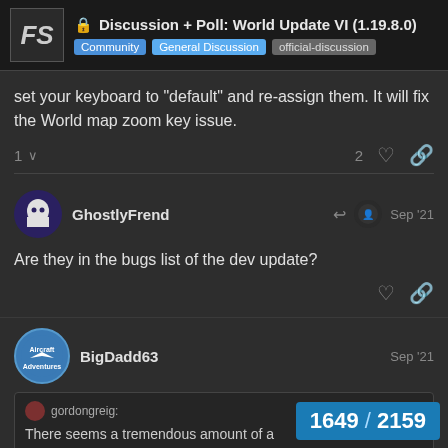Discussion + Poll: World Update VI (1.19.8.0) | Community > General Discussion > official-discussion
set your keyboard to “default” and re-assign them. It will fix the World map zoom key issue.
GhostlyFrend Sep '21 — Are they in the bugs list of the dev update?
BigDadd63 Sep '21
gordongreig: There seems a tremendous amount of a